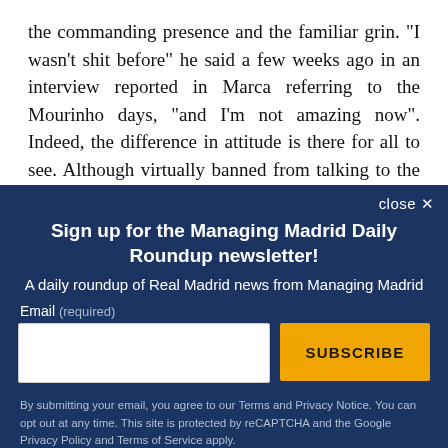the commanding presence and the familiar grin. "I wasn't shit before" he said a few weeks ago in an interview reported in Marca referring to the Mourinho days, "and I'm not amazing now". Indeed, the difference in attitude is there for all to see. Although virtually banned from talking to the press under Mourinho, Casillas appeared relaxed and emphatic
Sign up for the Managing Madrid Daily Roundup newsletter!
A daily roundup of Real Madrid news from Managing Madrid
Email (required)
SUBSCRIBE
By submitting your email, you agree to our Terms and Privacy Notice. You can opt out at any time. This site is protected by reCAPTCHA and the Google Privacy Policy and Terms of Service apply.